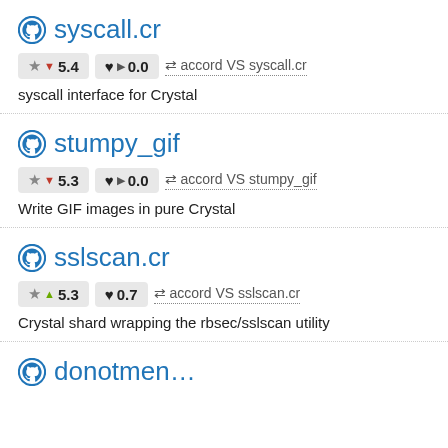syscall.cr
★ ▼ 5.4   ♥ ▶ 0.0   ⇄ accord VS syscall.cr
syscall interface for Crystal
stumpy_gif
★ ▼ 5.3   ♥ ▶ 0.0   ⇄ accord VS stumpy_gif
Write GIF images in pure Crystal
sslscan.cr
★ ▲ 5.3   ♥ 0.7   ⇄ accord VS sslscan.cr
Crystal shard wrapping the rbsec/sslscan utility
donotmen…